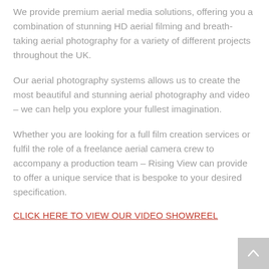We provide premium aerial media solutions, offering you a combination of stunning HD aerial filming and breath-taking aerial photography for a variety of different projects throughout the UK.
Our aerial photography systems allows us to create the most beautiful and stunning aerial photography and video – we can help you explore your fullest imagination.
Whether you are looking for a full film creation services or fulfil the role of a freelance aerial camera crew to accompany a production team – Rising View can provide to offer a unique service that is bespoke to your desired specification.
CLICK HERE TO VIEW OUR VIDEO SHOWREEL